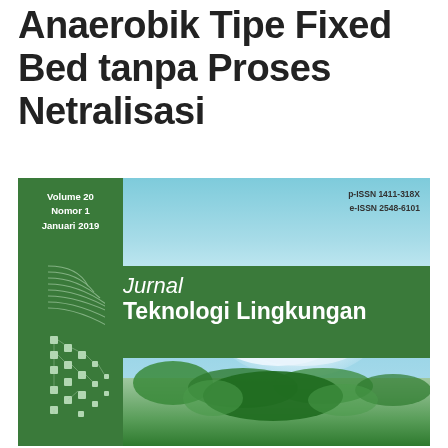Anaerobik Tipe Fixed Bed tanpa Proses Netralisasi
[Figure (illustration): Journal cover of Jurnal Teknologi Lingkungan, Volume 20, Nomor 1, Januari 2019. Green and teal design with circuit board pattern on left, sky and clouds photo in lower portion. ISSN p-ISSN 1411-318X, e-ISSN 2548-6101.]